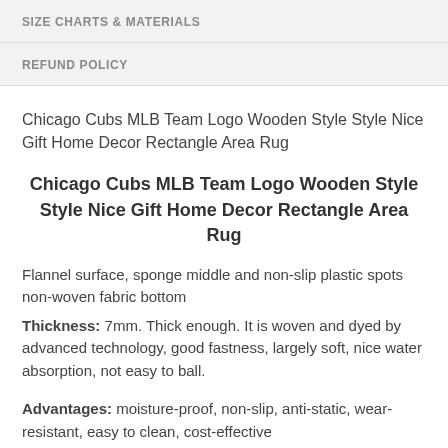SIZE CHARTS & MATERIALS
REFUND POLICY
Chicago Cubs MLB Team Logo Wooden Style Style Nice Gift Home Decor Rectangle Area Rug
Chicago Cubs MLB Team Logo Wooden Style Style Nice Gift Home Decor Rectangle Area Rug
Flannel surface, sponge middle and non-slip plastic spots non-woven fabric bottom
Thickness: 7mm. Thick enough. It is woven and dyed by advanced technology, good fastness, largely soft, nice water absorption, not easy to ball.
Advantages: moisture-proof, non-slip, anti-static, wear-resistant, easy to clean, cost-effective